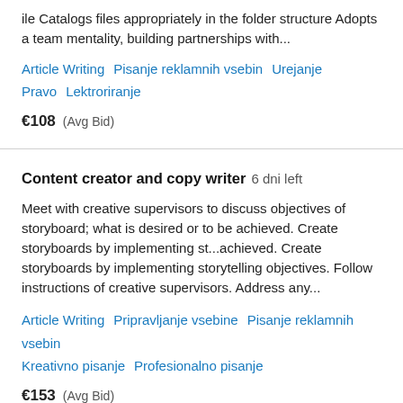ile Catalogs files appropriately in the folder structure Adopts a team mentality, building partnerships with...
Article Writing   Pisanje reklamnih vsebin   Urejanje Pravo   Lektroriranje
€108  (Avg Bid)
Content creator and copy writer  6 dni left
Meet with creative supervisors to discuss objectives of storyboard; what is desired or to be achieved. Create storyboards by implementing st...achieved. Create storyboards by implementing storytelling objectives. Follow instructions of creative supervisors. Address any...
Article Writing   Pripravljanje vsebine   Pisanje reklamnih vsebin   Kreativno pisanje   Profesionalno pisanje
€153  (Avg Bid)